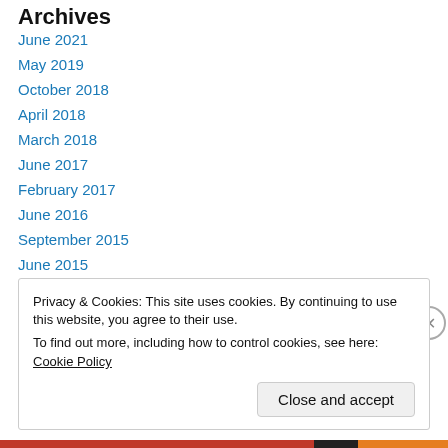Archives
June 2021
May 2019
October 2018
April 2018
March 2018
June 2017
February 2017
June 2016
September 2015
June 2015
May 2015
April 2015
Privacy & Cookies: This site uses cookies. By continuing to use this website, you agree to their use. To find out more, including how to control cookies, see here: Cookie Policy
Close and accept